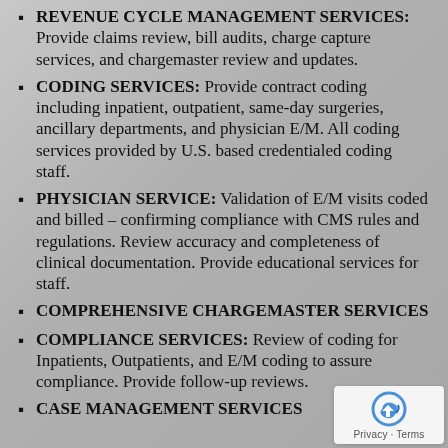REVENUE CYCLE MANAGEMENT SERVICES: Provide claims review, bill audits, charge capture services, and chargemaster review and updates.
CODING SERVICES: Provide contract coding including inpatient, outpatient, same-day surgeries, ancillary departments, and physician E/M. All coding services provided by U.S. based credentialed coding staff.
PHYSICIAN SERVICE: Validation of E/M visits coded and billed – confirming compliance with CMS rules and regulations. Review accuracy and completeness of clinical documentation. Provide educational services for staff.
COMPREHENSIVE CHARGEMASTER SERVICES
COMPLIANCE SERVICES: Review of coding for Inpatients, Outpatients, and E/M coding to assure compliance. Provide follow-up reviews.
CASE MANAGEMENT SERVICES